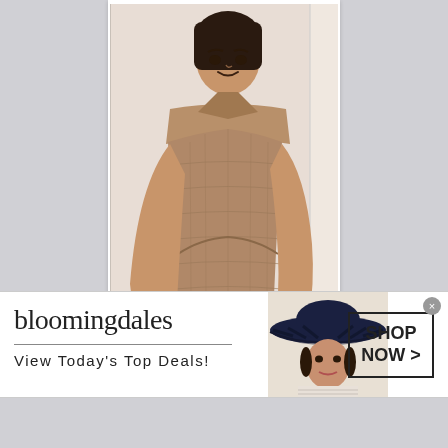[Figure (photo): Woman posing in a brown/tan halter-neck bodycon dress, hand on hip, smiling, against a white wall. Watermark reads OPPO F11 PRO.]
[Figure (photo): Woman with dark hair pulled back, looking forward, cropped at chest level, light background.]
[Figure (infographic): Bloomingdale's advertisement banner. Logo text: bloomingdales. Tagline: View Today's Top Deals! Shows a woman model wearing a large dark hat. Shop Now > button on the right. infolinks label in top-left corner. Close (x) button in top-right.]